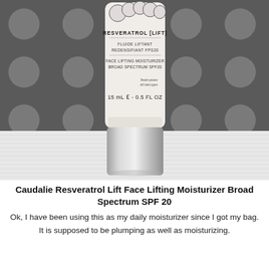[Figure (photo): A white tube of Caudalie Resveratrol [Lift] Face Lifting Moisturizer Broad Spectrum SPF20, 15mL / 0.5 FL OZ, standing upright on a white surface against a dark gray background with white polka dots. The product tube has a silver metallic cap at the bottom.]
Caudalie Resveratrol Lift Face Lifting Moisturizer Broad Spectrum SPF 20
Ok, I have been using this as my daily moisturizer since I got my bag. It is supposed to be plumping as well as moisturizing.